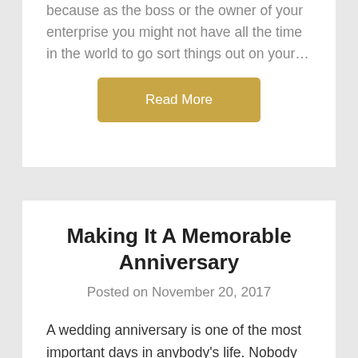because as the boss or the owner of your enterprise you might not have all the time in the world to go sort things out on your…
Read More
Making It A Memorable Anniversary
Posted on November 20, 2017
A wedding anniversary is one of the most important days in anybody's life. Nobody can forget the day that they got married. That special day when they tied the knot with someone. The day that they said